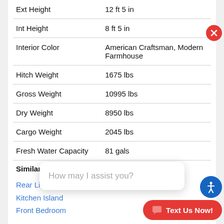| Spec | Value |
| --- | --- |
| Ext Height | 12 ft 5 in |
| Int Height | 8 ft 5 in |
| Interior Color | American Craftsman, Modern Farmhouse |
| Hitch Weight | 1675 lbs |
| Gross Weight | 10995 lbs |
| Dry Weight | 8950 lbs |
| Cargo Weight | 2045 lbs |
| Fresh Water Capacity | 81 gals |
Similar Floorp
Rear Living Area
Kitchen Island
Front Bedroom
How may I assist you?